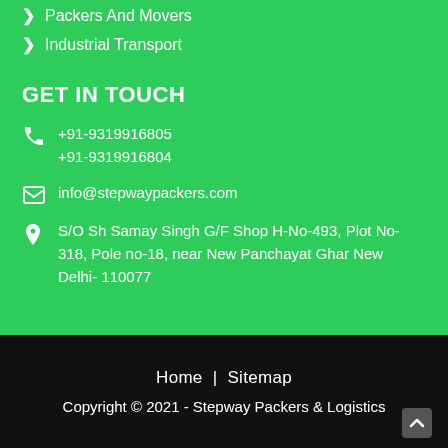Packers And Movers
Industrial Transport
GET IN TOUCH
+91-9319916805
+91-9319916804
info@stepwaypackers.com
S/O Sh Samay Singh G/F Shop H-No-493, Plot No-318, Pole no-18, near New Panchayat Ghar New Delhi- 110077
Home | Sitemap
Copyright © 2021 - Stepway Packers & Logistics